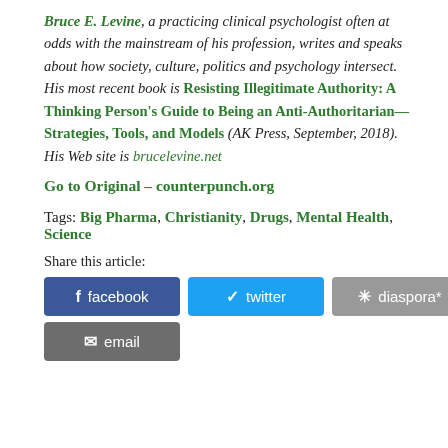Bruce E. Levine, a practicing clinical psychologist often at odds with the mainstream of his profession, writes and speaks about how society, culture, politics and psychology intersect. His most recent book is Resisting Illegitimate Authority: A Thinking Person's Guide to Being an Anti-Authoritarian—Strategies, Tools, and Models (AK Press, September, 2018). His Web site is brucelevine.net
Go to Original – counterpunch.org
Tags: Big Pharma, Christianity, Drugs, Mental Health, Science
Share this article:
[Figure (infographic): Share buttons: facebook (blue), twitter (light blue), diaspora* (gray), email (dark gray)]